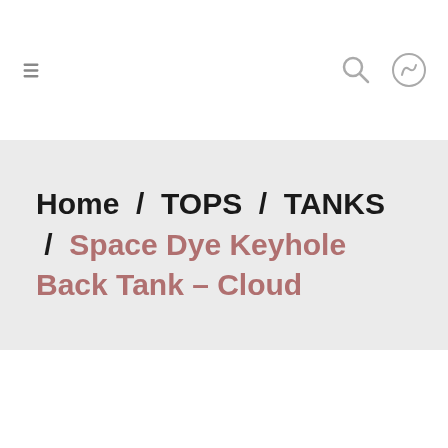Home / TOPS / TANKS / Space Dye Keyhole Back Tank – Cloud
Home / TOPS / TANKS / Space Dye Keyhole Back Tank – Cloud